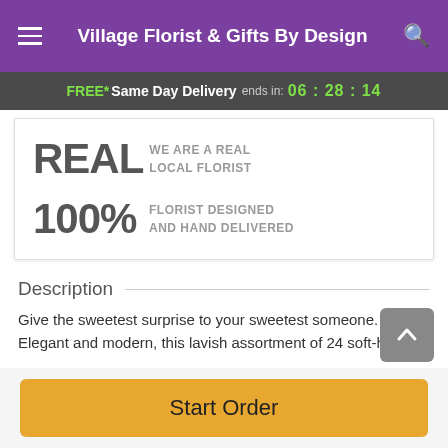Village Florist & Gifts By Design
FREE* Same Day Delivery ends in: 06:28:14
REAL  WE ARE A REAL LOCAL FLORIST
100%  FLORIST DESIGNED AND HAND DELIVERED
Description
Give the sweetest surprise to your sweetest someone. Elegant and modern, this lavish assortment of 24 soft-hued
Start Order